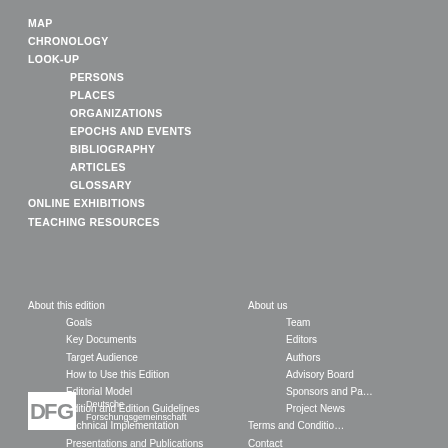MAP
CHRONOLOGY
LOOK-UP
PERSONS
PLACES
ORGANIZATIONS
EPOCHS AND EVENTS
BIBLIOGRAPHY
ARTICLES
GLOSSARY
ONLINE EXHIBITIONS
TEACHING RESOURCES
About this edition
Goals
Key Documents
Target Audience
How to Use this Edition
Editorial Model
Edition and Edition Guidelines
Technical Implementation
Presentations and Publications
About us
Team
Editors
Authors
Advisory Board
Sponsors and Partners
Project News
Terms and Conditions
Contact
Imprint
Data Protection
[Figure (logo): DFG Deutsche Forschungsgemeinschaft logo]